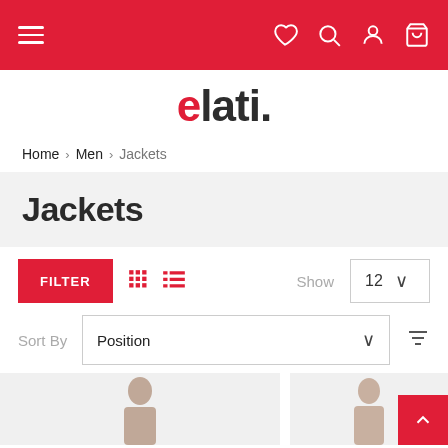Navigation bar with hamburger menu, heart, search, account, and cart icons on red background
elati.
Home > Men > Jackets
Jackets
FILTER | grid view | list view | Show 12 | Sort By Position